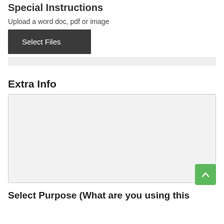Special Instructions
Upload a word doc, pdf or image
[Figure (screenshot): A dark grey 'Select Files' button for file upload, followed by a light grey progress/status bar below it.]
Extra Info
[Figure (screenshot): A large light grey textarea input box with a resize handle in the bottom-right corner, and a green scroll-to-top button overlaid at the bottom-right.]
Select Purpose (What are you using this